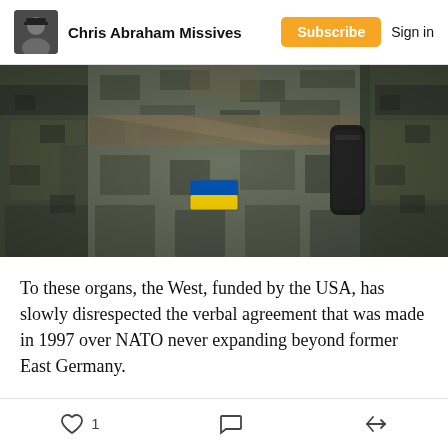Chris Abraham Missives | Subscribe | Sign in
[Figure (photo): Close-up photo of soldiers in camouflage military uniforms. The central figure displays a Ukrainian flag patch (blue and yellow) on their sleeve, and wears a khaki diagonal strap across their chest. They hold a dark object. Other soldiers in camouflage are visible on the sides.]
To these organs, the West, funded by the USA, has slowly disrespected the verbal agreement that was made in 1997 over NATO never expanding beyond former East Germany.
I wish more people knew that Putin doesn't see any part of this invasion the way anyone in the West seems
1 [like] [comment] [share]